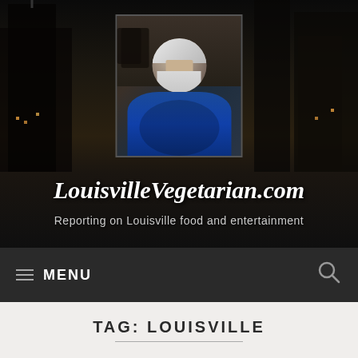[Figure (screenshot): Website header for LouisvilleVegetarian.com showing a city skyline background (Louisville, KY at night) with a profile photo of a man with white hair and beard wearing a blue jacket, the website name in cursive script, and a subtitle reading 'Reporting on Louisville food and entertainment']
≡ MENU
TAG: LOUISVILLE